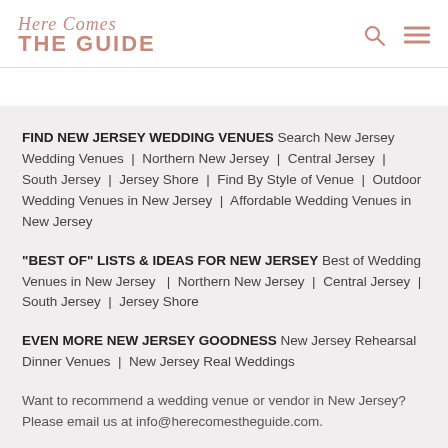Here Comes THE GUIDE
FIND NEW JERSEY WEDDING VENUES Search New Jersey Wedding Venues | Northern New Jersey | Central Jersey | South Jersey | Jersey Shore | Find By Style of Venue | Outdoor Wedding Venues in New Jersey | Affordable Wedding Venues in New Jersey
"BEST OF" LISTS & IDEAS FOR NEW JERSEY Best of Wedding Venues in New Jersey | Northern New Jersey | Central Jersey | South Jersey | Jersey Shore
EVEN MORE NEW JERSEY GOODNESS New Jersey Rehearsal Dinner Venues | New Jersey Real Weddings
Want to recommend a wedding venue or vendor in New Jersey? Please email us at info@herecomestheguide.com.